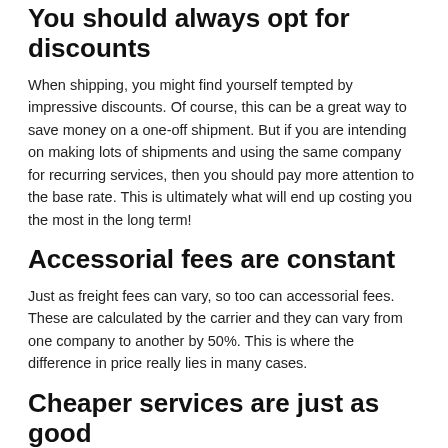You should always opt for discounts
When shipping, you might find yourself tempted by impressive discounts. Of course, this can be a great way to save money on a one-off shipment. But if you are intending on making lots of shipments and using the same company for recurring services, then you should pay more attention to the base rate. This is ultimately what will end up costing you the most in the long term!
Accessorial fees are constant
Just as freight fees can vary, so too can accessorial fees. These are calculated by the carrier and they can vary from one company to another by 50%. This is where the difference in price really lies in many cases.
Cheaper services are just as good
As with many services, you get what you pay for to an extent. Or as the old saying goes: “If you pay peanuts, you get monkeys!” In